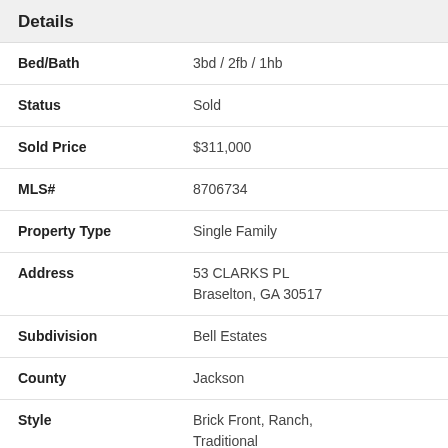Details
| Field | Value |
| --- | --- |
| Bed/Bath | 3bd / 2fb / 1hb |
| Status | Sold |
| Sold Price | $311,000 |
| MLS# | 8706734 |
| Property Type | Single Family |
| Address | 53 CLARKS PL
Braselton, GA 30517 |
| Subdivision | Bell Estates |
| County | Jackson |
| Style | Brick Front, Ranch, Traditional |